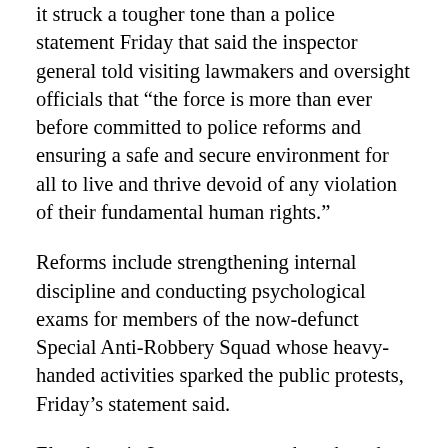it struck a tougher tone than a police statement Friday that said the inspector general told visiting lawmakers and oversight officials that “the force is more than ever before committed to police reforms and ensuring a safe and secure environment for all to live and thrive devoid of any violation of their fundamental human rights.”
Reforms include strengthening internal discipline and conducting psychological exams for members of the now-defunct Special Anti-Robbery Squad whose heavy-handed activities sparked the public protests, Friday’s statement said.
Elsewhere in Lagos, some youth took to the streets again Saturday, but this time to clean up some of the debris after the turmoil. Charred vehicles remained in some parts of the city.
“A lot of harm has happened to people’s business and our heart goes out to them,” said one volunteer, Monica Dede.
As for the way forward in Nigeria, she said, “we will still be